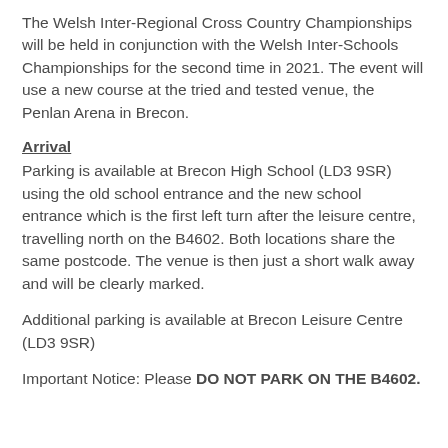The Welsh Inter-Regional Cross Country Championships will be held in conjunction with the Welsh Inter-Schools Championships for the second time in 2021. The event will use a new course at the tried and tested venue, the Penlan Arena in Brecon.
Arrival
Parking is available at Brecon High School (LD3 9SR) using the old school entrance and the new school entrance which is the first left turn after the leisure centre, travelling north on the B4602. Both locations share the same postcode. The venue is then just a short walk away and will be clearly marked.
Additional parking is available at Brecon Leisure Centre (LD3 9SR)
Important Notice: Please DO NOT PARK ON THE B4602. You may be clamped or towed.